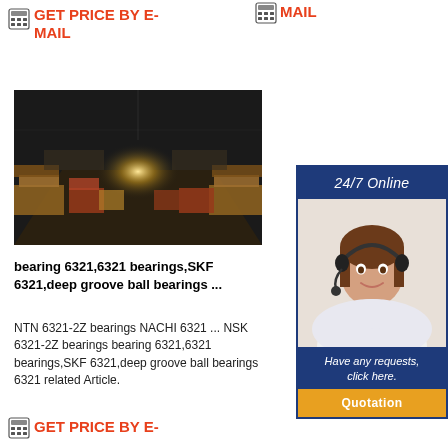GET PRICE BY E-MAIL
MAIL
[Figure (photo): Warehouse interior with stacked boxes on pallets and a bright light at the far end of a wide aisle]
bearing 6321,6321 bearings,SKF 6321,deep groove ball bearings ...
NTN 6321-2Z bearings NACHI 6321 ... NSK 6321-2Z bearings bearing 6321,6321 bearings,SKF 6321,deep groove ball bearings 6321 related Article.
[Figure (infographic): 24/7 Online customer service panel with a smiling female agent wearing a headset, 'Have any requests, click here.' text and Quotation button]
GET PRICE BY E-